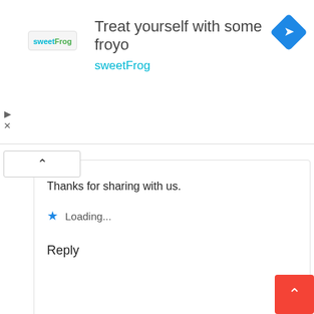[Figure (screenshot): SweetFrog frozen yogurt advertisement banner with logo, headline 'Treat yourself with some froyo', brand name 'sweetFrog', and a blue diamond navigation icon]
Thanks for sharing with us.
Loading...
Reply
[Figure (screenshot): DiscoveryFeed sponsored advertisement with image of person looking through telescope, headline 'Discover More Content That's Right For You', sponsored by DiscoveryFeed]
Thanks for sharing